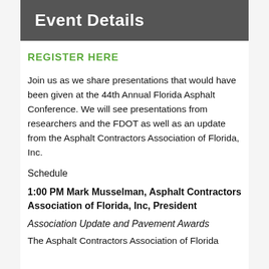Event Details
REGISTER HERE
Join us as we share presentations that would have been given at the 44th Annual Florida Asphalt Conference. We will see presentations from researchers and the FDOT as well as an update from the Asphalt Contractors Association of Florida, Inc.
Schedule
1:00 PM Mark Musselman, Asphalt Contractors Association of Florida, Inc, President
Association Update and Pavement Awards
The Asphalt Contractors Association of Florida